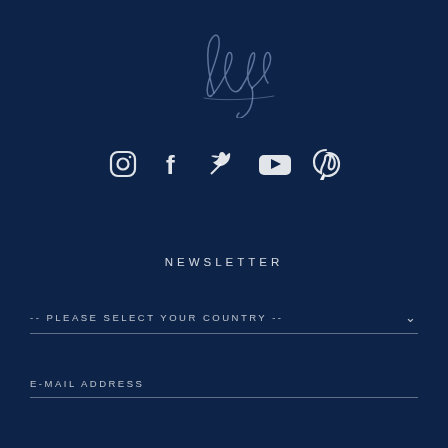[Figure (illustration): A cursive handwritten signature/logo in light blue-gray color on dark navy background, positioned at the top center of the page]
[Figure (infographic): Row of five social media icons: Instagram, Facebook, Twitter, YouTube, Pinterest — white icons on dark navy background]
NEWSLETTER
-- PLEASE SELECT YOUR COUNTRY --
E-MAIL ADDRESS